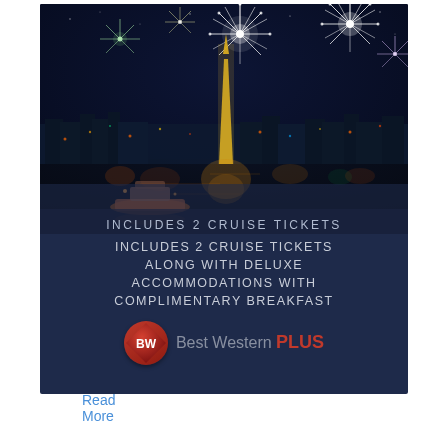[Figure (photo): Advertisement card with dark navy background. Top portion shows a nighttime photo of a city waterfront with fireworks exploding above a tall illuminated obelisk/tower, colorful reflections on water, and a small boat in the foreground. Below the photo, text reads: INCLUDES 2 CRUISE TICKETS ALONG WITH DELUXE ACCOMMODATIONS WITH COMPLIMENTARY BREAKFAST. At the bottom is the Best Western PLUS logo with red diamond-shaped badge.]
Read More